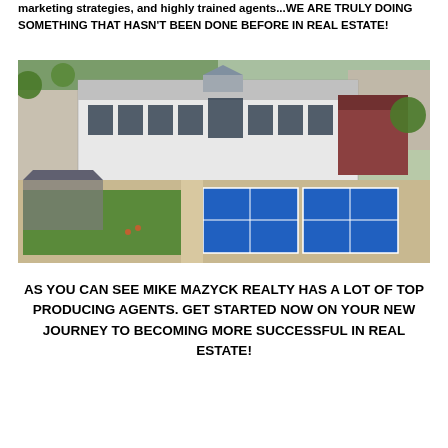marketing strategies, and highly trained agents...WE ARE TRULY DOING SOMETHING THAT HASN'T BEEN DONE BEFORE IN REAL ESTATE!
[Figure (photo): Aerial drone photograph of a modern sports and recreation facility complex with a large white building, green turf areas, blue pickleball/tennis courts, a covered pavilion, parking lots, and surrounding trees.]
AS YOU CAN SEE MIKE MAZYCK REALTY HAS A LOT OF TOP PRODUCING AGENTS. GET STARTED NOW ON YOUR NEW JOURNEY TO BECOMING MORE SUCCESSFUL IN REAL ESTATE!